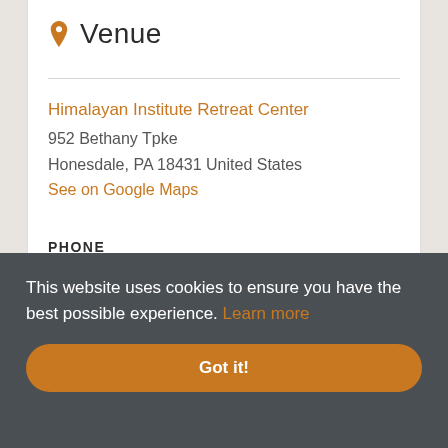Venue
Himalayan Institute Retreat Center
952 Bethany Tpke
Honesdale, PA 18431 United States
See on Google Maps
PHONE
This website uses cookies to ensure you have the best possible experience. Learn more
Got it!